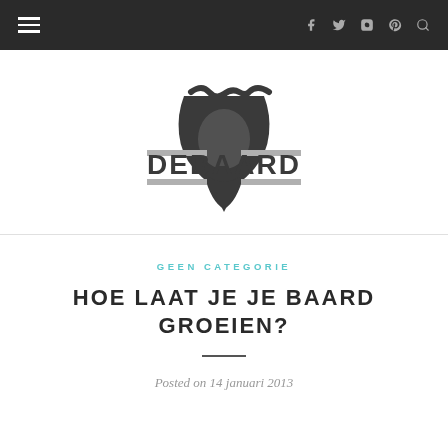Navigation bar with hamburger menu and social icons (Facebook, Twitter, Instagram, Pinterest, Search)
[Figure (logo): De Baard logo: stylized beard with mustache above text DEBAARD in bold, flanked by horizontal bars, with a necktie shape below, all in dark charcoal/gray tones]
GEEN CATEGORIE
HOE LAAT JE JE BAARD GROEIEN?
Posted on 14 januari 2013